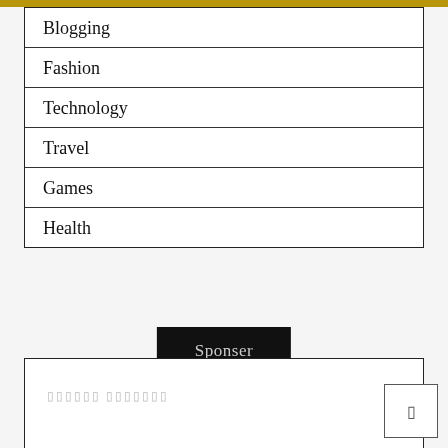Blogging
Fashion
Technology
Travel
Games
Health
Sponser
▯▯▯▯▯▯ ▯▯▯▯▯▯▯
▯